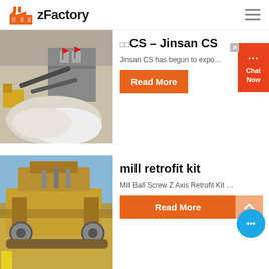zFactory
[Figure (photo): Industrial mining/crushing facility with conveyor belts and white mineral piles]
CS – Jinsan CS
Jinsan CS has begun to expo...
Read More
[Figure (photo): Large yellow industrial mining machine/crusher on a construction site]
mill retrofit kit
Mill Ball Screw Z Axis Retrofit Kit ...
Read More